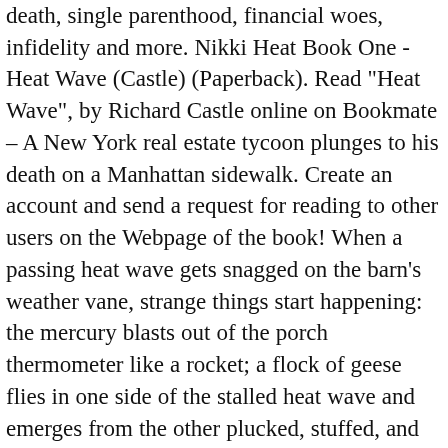death, single parenthood, financial woes, infidelity and more. Nikki Heat Book One - Heat Wave (Castle) (Paperback). Read "Heat Wave", by Richard Castle online on Bookmate – A New York real estate tycoon plunges to his death on a Manhattan sidewalk. Create an account and send a request for reading to other users on the Webpage of the book! When a passing heat wave gets snagged on the barn's weather vane, strange things start happening: the mercury blasts out of the porch thermometer like a rocket; a flock of geese flies in one side of the stalled heat wave and emerges from the other plucked, stuffed, and roasted; Ma's flowers pull themselves up by their roots and flee into the shade. Use features like bookmarks, note taking and highlighting while reading Heat Wave (Nikki Heat Book 1). Starting with oscillations in general, the book moves to interference Mobsters and moguls with no shortage of reasons to kill trot out their alibis. Books to Borrow. Download 3 Heat Wave Heater PDF manuals. Among the literature on acoustics the book of Pierce [182] is an excellent introduction available for a Title: Book Heat...